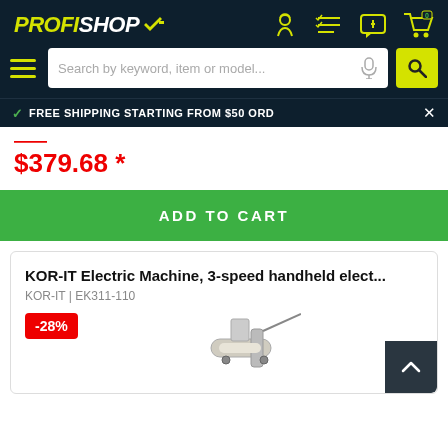[Figure (logo): PROFISHOP logo with checkmark in yellow and white on dark background]
[Figure (infographic): Header icons: worker, checklist, chat, cart with 0]
[Figure (infographic): Hamburger menu and search bar with microphone icon and yellow search button]
FREE SHIPPING STARTING FROM $50 ORD
$379.68 *
ADD TO CART
KOR-IT Electric Machine, 3-speed handheld elect...
KOR-IT | EK311-110
[Figure (infographic): -28% discount badge in red]
[Figure (photo): Product image of KOR-IT electric machine]